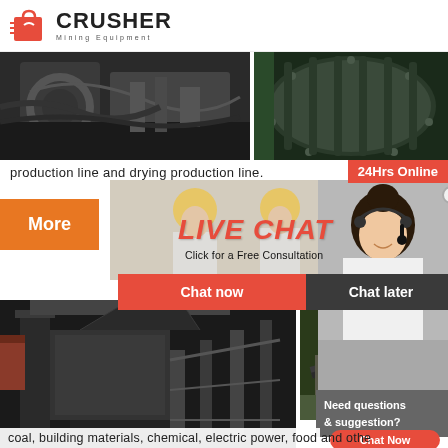[Figure (logo): Crusher Mining Equipment logo with red shopping bag icon and bold CRUSHER text]
[Figure (photo): Industrial machinery/equipment close-up photo (left)]
[Figure (photo): Large industrial ball mill or rotary drum equipment (right)]
production line and drying production line.
24Hrs Online
More
[Figure (photo): Live chat popup with workers in hard hats and LIVE CHAT text overlay with Click for a Free Consultation]
[Figure (photo): Customer service representative with headset]
Chat now
Chat later
[Figure (photo): Mining crusher/rock crusher equipment at industrial site (bottom left)]
[Figure (photo): Mining conveyor belt equipment at outdoor site (bottom right)]
Need questions & suggestion?
Chat Now
Enquiry
limingjlmofen@sina.com
coal, building materials, chemical, electric power, food and othe